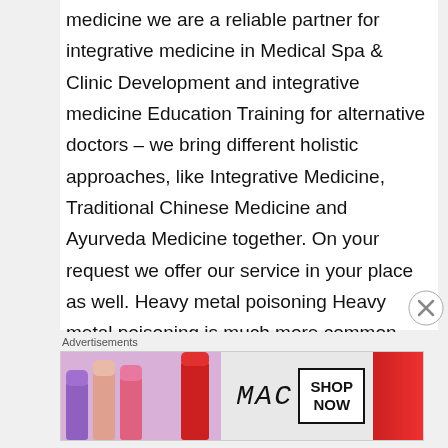medicine we are a reliable partner for integrative medicine in Medical Spa & Clinic Development and integrative medicine Education Training for alternative doctors – we bring different holistic approaches, like Integrative Medicine, Traditional Chinese Medicine and Ayurveda Medicine together. On your request we offer our service in your place as well. Heavy metal poisoning Heavy metal poisoning is much more common than most people realize, and if you're thinking
[Figure (other): Close/dismiss button (circled X icon) in bottom right of content area]
Advertisements
[Figure (photo): MAC cosmetics advertisement banner showing colorful lipsticks (purple, peach, pink, red) alongside the MAC logo and a SHOP NOW button]